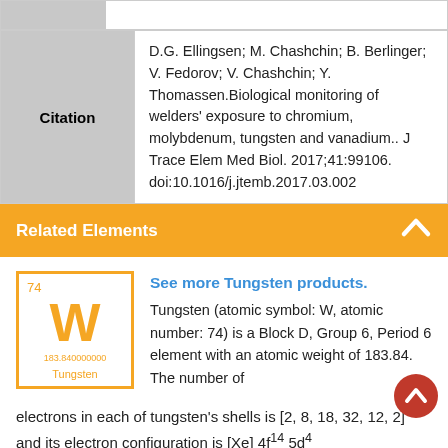| Citation |  |
| --- | --- |
| Citation | D.G. Ellingsen; M. Chashchin; B. Berlinger; V. Fedorov; V. Chashchin; Y. Thomassen.Biological monitoring of welders' exposure to chromium, molybdenum, tungsten and vanadium.. J Trace Elem Med Biol. 2017;41:99106. doi:10.1016/j.jtemb.2017.03.002 |
Related Elements
[Figure (illustration): Periodic table element box for Tungsten: atomic number 74, symbol W, atomic mass 183.840000000, name Tungsten, displayed in orange/yellow border style.]
See more Tungsten products. Tungsten (atomic symbol: W, atomic number: 74) is a Block D, Group 6, Period 6 element with an atomic weight of 183.84. The number of electrons in each of tungsten's shells is [2, 8, 18, 32, 12, 2] and its electron configuration is [Xe] 4f14 5d4